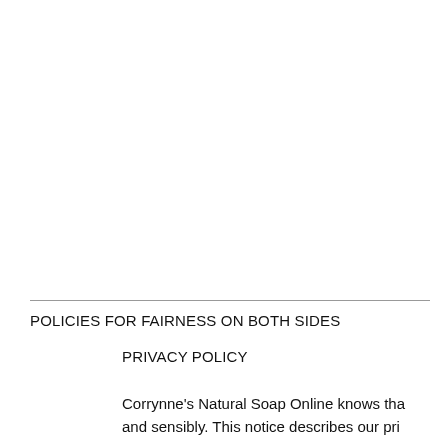POLICIES FOR FAIRNESS ON BOTH SIDES
PRIVACY POLICY
Corrynne's Natural Soap Online knows tha and sensibly. This notice describes our pri